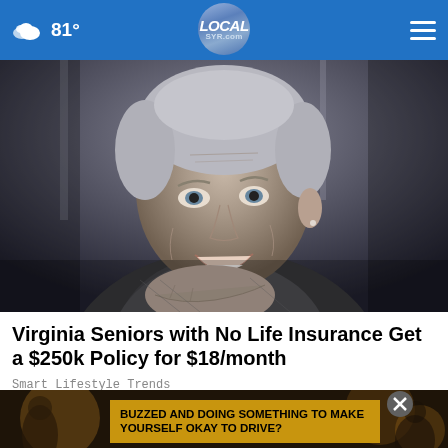81° LOCAL SYR.com
[Figure (photo): Close-up portrait of a smiling senior woman with short gray hair, wearing a gray jacket, black and white photo style]
Virginia Seniors with No Life Insurance Get a $250k Policy for $18/month
Smart Lifestyle Trends
[Figure (photo): Advertisement banner with dark background image showing a person, with a gold/yellow banner reading: BUZZED AND DOING SOMETHING TO MAKE YOURSELF OKAY TO DRIVE? and a close (X) button]
BUZZED AND DOING SOMETHING TO MAKE YOURSELF OKAY TO DRIVE?